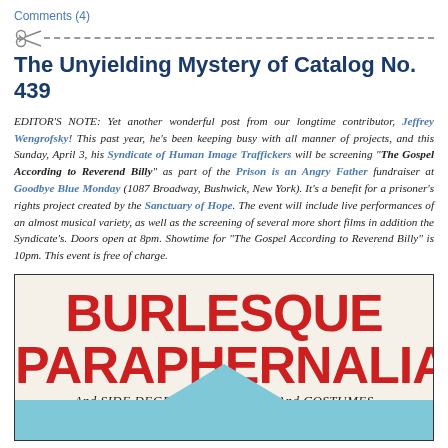Comments (4)
The Unyielding Mystery of Catalog No. 439
EDITOR'S NOTE: Yet another wonderful post from our longtime contributor, Jeffrey Wengrofsky! This past year, he's been keeping busy with all manner of projects, and this Sunday, April 3, his Syndicate of Human Image Traffickers will be screening “The Gospel According to Reverend Billy” as part of the Prison is an Angry Father fundraiser at Goodbye Blue Monday (1087 Broadway, Bushwick, New York). It’s a benefit for a prisoner’s rights project created by the Sanctuary of Hope. The event will include live performances of an almost musical variety, as well as the screening of several more short films in addition the Syndicate’s. Doors open at 8pm. Showtime for “The Gospel According to Reverend Billy” is 10pm. This event is free of charge.
[Figure (illustration): Vintage catalog cover showing 'BURLESQUE PARAPHERNALIA And SIDE DEGREE SPECIALTIES And COSTUMES' text in large red lettering on a cream background with a blue triangle/pennant shape at the bottom.]